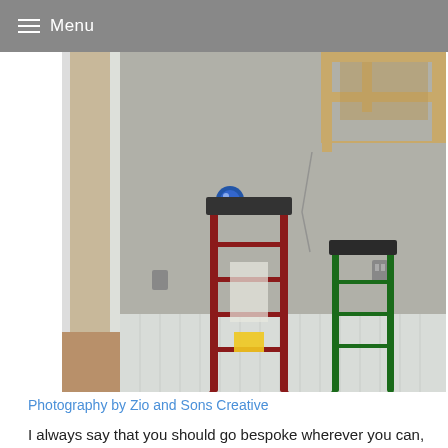Menu
[Figure (photo): A kitchen under renovation with exposed drywall, two step ladders (one red, one green), wooden framing visible at the top, white beadboard wainscoting at the bottom, and a blue electrical box on the wall.]
Photography by Zio and Sons Creative
I always say that you should go bespoke wherever you can, because you don't want a cookie-cutter space—an IKEA kitchen